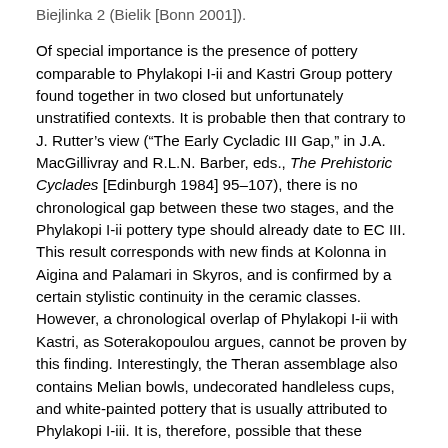Biejlinka 2 (Bielik [Bonn 2001]).
Of special importance is the presence of pottery comparable to Phylakopi I-ii and Kastri Group pottery found together in two closed but unfortunately unstratified contexts. It is probable then that contrary to J. Rutter’s view (“The Early Cycladic III Gap,” in J.A. MacGillivray and R.L.N. Barber, eds., The Prehistoric Cyclades [Edinburgh 1984] 95–107), there is no chronological gap between these two stages, and the Phylakopi I-ii pottery type should already date to EC III. This result corresponds with new finds at Kolonna in Aigina and Palamari in Skyros, and is confirmed by a certain stylistic continuity in the ceramic classes. However, a chronological overlap of Phylakopi I-ii with Kastri, as Soterakopoulou argues, cannot be proven by this finding. Interestingly, the Theran assemblage also contains Melian bowls, undecorated handleless cups, and white-painted pottery that is usually attributed to Phylakopi I-iii. It is, therefore, possible that these pottery classes were already being produced during Phylakopi I-ii. Soterakopoulou notes that the ceramic evidence points to a clear, smooth continuity between the Kastri Group and the Phylakopi I culture. However, this picture drawn by the ceramic evidence is in contrast with the